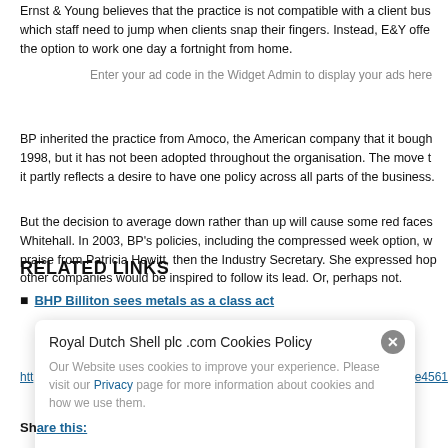Ernst & Young believes that the practice is not compatible with a client business which staff need to jump when clients snap their fingers. Instead, E&Y offers the option to work one day a fortnight from home.
Enter your ad code in the Widget Admin to display your ads here
BP inherited the practice from Amoco, the American company that it bought in 1998, but it has not been adopted throughout the organisation. The move to extend it partly reflects a desire to have one policy across all parts of the business.
But the decision to average down rather than up will cause some red faces in Whitehall. In 2003, BP's policies, including the compressed week option, won praise from Patricia Hewitt, then the Industry Secretary. She expressed hope that other companies would be inspired to follow its lead. Or, perhaps not.
RELATED LINKS
BHP Billiton sees metals as a class act
Royal Dutch Shell plc .com Cookies Policy
Our Website uses cookies to improve your experience. Please visit our Privacy page for more information about cookies and how we use them.